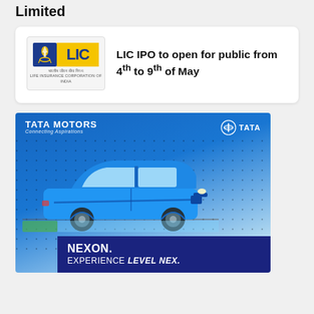Limited
[Figure (logo): LIC (Life Insurance Corporation of India) logo — blue shield icon with torch on left, yellow background with LIC text on right, Hindi/English subtitle below]
LIC IPO to open for public from 4th to 9th of May
[Figure (photo): Tata Motors advertisement for the Nexon SUV. Blue compact SUV on a road with water in background, dotted pattern overlay on blue sky background. Top left: TATA MOTORS / Connecting Aspirations. Top right: Tata logo. Bottom banner: NEXON. EXPERIENCE LEVEL NEX.]